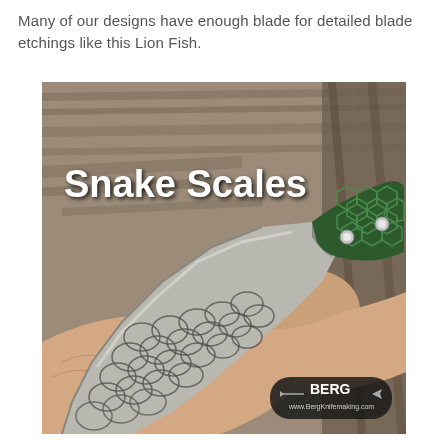Many of our designs have enough blade for detailed blade etchings like this Lion Fish.
[Figure (photo): A hand holding a large knife with snake scale etching on the blade and a green hexagonal pattern handle. The text 'Snake Scales' appears in bold white on the upper left of the image. A Berg Knifemaking logo appears in the lower right corner.]